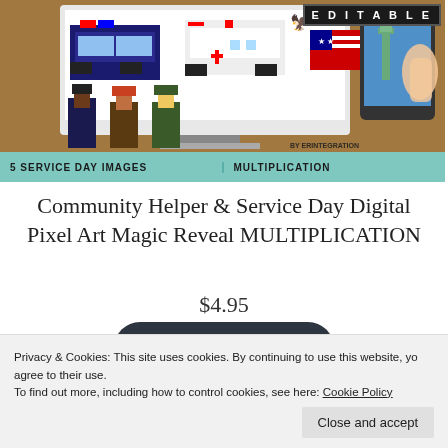[Figure (illustration): Product image for Community Helper & Service Day Digital Pixel Art Magic Reveal MULTIPLICATION. Shows pixel art characters (police officer, firefighter, female character), laptop with pixel art vehicles and American imagery, tablet with Statue of Liberty, EDITABLE badge, and bottom banner with '5 SERVICE DAY IMAGES' and 'MULTIPLICATION'. By Erintegration.]
Community Helper & Service Day Digital Pixel Art Magic Reveal MULTIPLICATION
$4.95
Buy product
Privacy & Cookies: This site uses cookies. By continuing to use this website, you agree to their use.
To find out more, including how to control cookies, see here: Cookie Policy
Close and accept